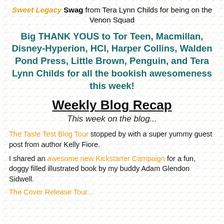Sweet Legacy Swag from Tera Lynn Childs for being on the Venon Squad
Big THANK YOUS to Tor Teen, Macmillan, Disney-Hyperion, HCI, Harper Collins, Walden Pond Press, Little Brown, Penguin, and Tera Lynn Childs for all the bookish awesomeness this week!
Weekly Blog Recap
This week on the blog...
The Taste Test Blog Tour stopped by with a super yummy guest post from author Kelly Fiore.
I shared an awesome new Kickstarter Campaign for a fun, doggy filled illustrated book by my buddy Adam Glendon Sidwell.
The Cover Release Tour...